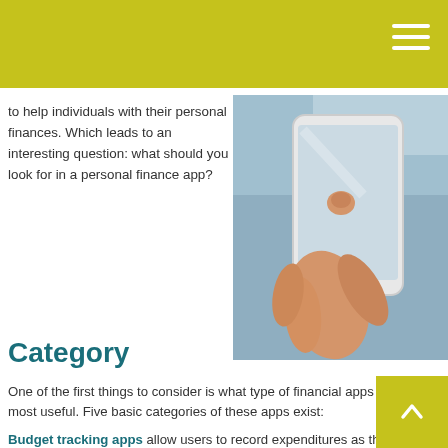[Figure (photo): Hand holding a smartphone, tapping the screen, with a blurred background.]
to help individuals with their personal finances. Which leads to an interesting question: what should you look for in a personal finance app?
Category
One of the first things to consider is what type of financial apps may be most useful. Five basic categories of these apps exist:
Budget tracking apps allow users to record expenditures as they are made, in order to keep track of bank balances and budget categories. Some allow users to make a budget and then watch how closely expenditures are tracking to it.
Financial assistant apps collect, store, and report information